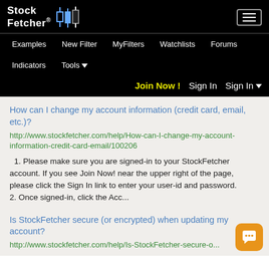StockFetcher® | Navigation: Examples, New Filter, MyFilters, Watchlists, Forums, Indicators, Tools | Join Now! Sign In Sign In▼
How can I change my account information (credit card, email, etc.)?
http://www.stockfetcher.com/help/How-can-I-change-my-account-information-credit-card-email/100206
1. Please make sure you are signed-in to your StockFetcher account. If you see Join Now! near the upper right of the page, please click the Sign In link to enter your user-id and password.
2. Once signed-in, click the Acc...
Is StockFetcher secure (or encrypted) when updating my account?
http://www.stockfetcher.com/help/Is-StockFetcher-secure-o...